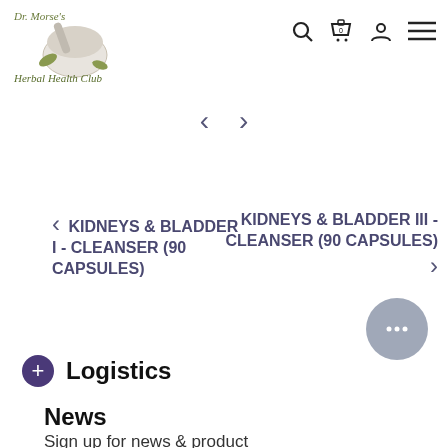[Figure (logo): Dr. Morse's Herbal Health Club logo with mortar and pestle]
[Figure (screenshot): Navigation icons: search, cart (0), user, hamburger menu]
[Figure (screenshot): Carousel left/right navigation arrows]
KIDNEYS & BLADDER I - CLEANSER (90 CAPSULES)
KIDNEYS & BLADDER III - CLEANSER (90 CAPSULES)
[Figure (screenshot): Chat button (gray circle with ellipsis)]
+ Logistics
News
Sign up for news & product